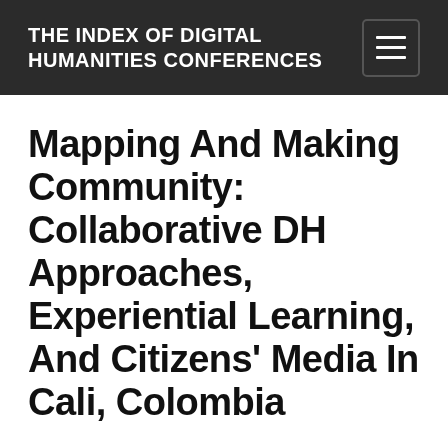THE INDEX OF DIGITAL HUMANITIES CONFERENCES
Mapping And Making Community: Collaborative DH Approaches, Experiential Learning, And Citizens' Media In Cali, Colombia
PAPER, SPECIFIED "SHORT PAPER"